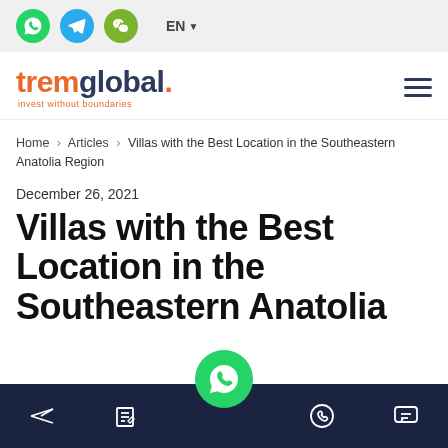Social icons (WhatsApp, Telegram, WeChat) and EN language selector
[Figure (logo): tremglobal. invest without boundaries logo with hamburger menu]
Home > Articles > Villas with the Best Location in the Southeastern Anatolia Region
December 26, 2021
Villas with the Best Location in the Southeastern Anatolia
Bottom navigation bar with send, edit, Viber, and chat icons; WhatsApp floating button